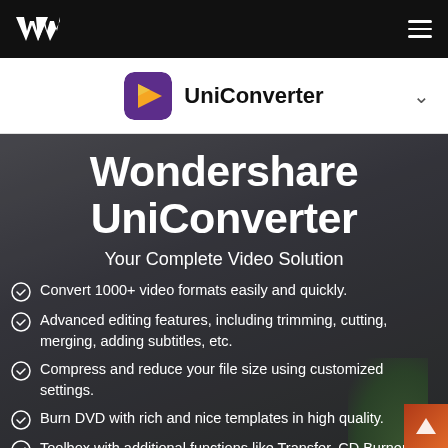Wondershare logo and hamburger menu navigation bar
UniConverter
Wondershare UniConverter
Your Complete Video Solution
Convert 1000+ video formats easily and quickly.
Advanced editing features, including trimming, cutting, merging, adding subtitles, etc.
Compress and reduce your file size using customized settings.
Burn DVD with rich and nice templates in high quality.
Toolbox with additional functions like Transfer, CD Burner, GIF Maker, Fix Media Metadata, VR Converter, etc.